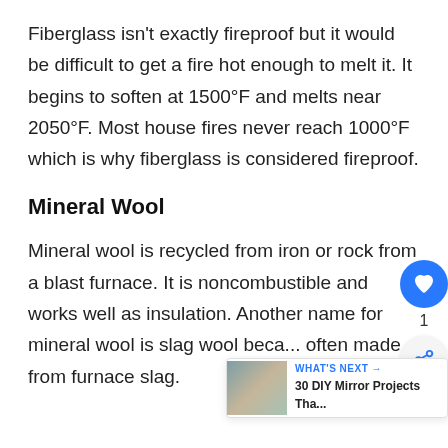Fiberglass isn't exactly fireproof but it would be difficult to get a fire hot enough to melt it. It begins to soften at 1500°F and melts near 2050°F. Most house fires never reach 1000°F which is why fiberglass is considered fireproof.
Mineral Wool
Mineral wool is recycled from iron or rock from a blast furnace. It is noncombustible and works well as insulation. Another name for mineral wool is slag wool because it is often made from furnace slag.